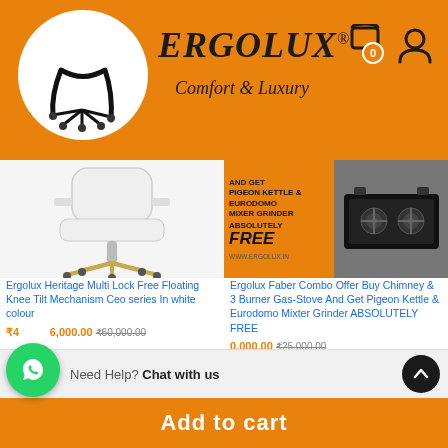[Figure (logo): Ergolux logo with chair silhouette in white circle on orange background. Brand name ERGOLUX with registered trademark, tagline Comfort & Luxury. Cart and profile icons top right.]
[Figure (photo): Ergolux Heritage Multi Lock Free Floating Knee Tilt Mechanism Ceo series office chair in white colour with gold base]
Ergolux Heritage Multi Lock Free Floating Knee Tilt Mechanism Ceo series In white colour
₹46,000.00  ₹60,000.00
[Figure (photo): Ergolux Faber Combo promotional image showing AND GET PIGEON KETTLE & EURODOMO MIXER GRINDER ABSOLUTELY FREE with gas stove image and www.ergolux.in]
Ergolux Faber Combo Offer Buy Chimney & 3 Burner Gas-Stove And Get Pigeon Kettle & Eurodomo Mixter Grinder ABSOLUTELY FREE
0,000.00  ₹25,000.00
Need Help? Chat with us
Add to cart